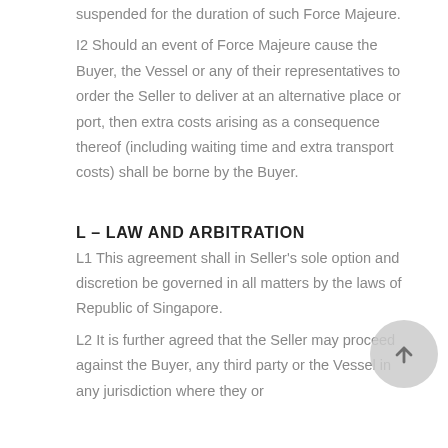suspended for the duration of such Force Majeure.
I2 Should an event of Force Majeure cause the Buyer, the Vessel or any of their representatives to order the Seller to deliver at an alternative place or port, then extra costs arising as a consequence thereof (including waiting time and extra transport costs) shall be borne by the Buyer.
L – LAW AND ARBITRATION
L1 This agreement shall in Seller's sole option and discretion be governed in all matters by the laws of Republic of Singapore.
L2 It is further agreed that the Seller may proceed against the Buyer, any third party or the Vessel in any jurisdiction where they or